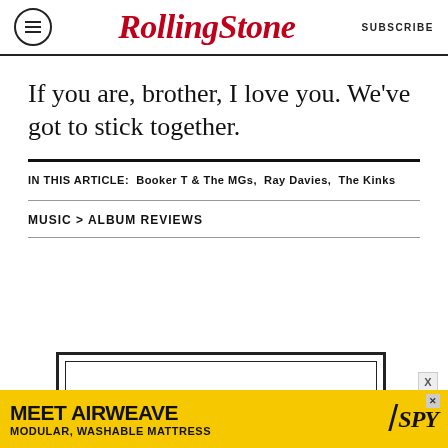RollingStone | SUBSCRIBE
If you are, brother, I love you. We've got to stick together.
IN THIS ARTICLE:  Booker T & The MGs,  Ray Davies,  The Kinks
MUSIC > ALBUM REVIEWS
[Figure (other): Newsletter signup box with text: THE DIGITAL DAILY NEWSLETTER]
[Figure (other): Advertisement banner: MEET AIRWEAVE - MODULAR, WASHABLE MATTRESS / SPY]